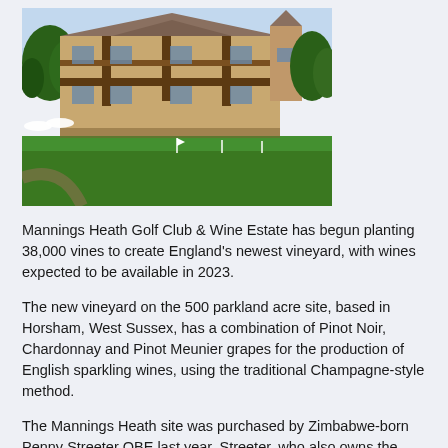[Figure (photo): Exterior photo of Mannings Heath Golf Club, a Tudor-style building with green lawn in the foreground and trees surrounding it, taken on a clear day.]
Mannings Heath Golf Club & Wine Estate has begun planting 38,000 vines to create England's newest vineyard, with wines expected to be available in 2023.
The new vineyard on the 500 parkland acre site, based in Horsham, West Sussex, has a combination of Pinot Noir, Chardonnay and Pinot Meunier grapes for the production of English sparkling wines, using the traditional Champagne-style method.
The Mannings Heath site was purchased by Zimbabwe-born Penny Streeter OBE last year. Streeter, who also owns the Benguela Cove Wine Estate in South Africa,